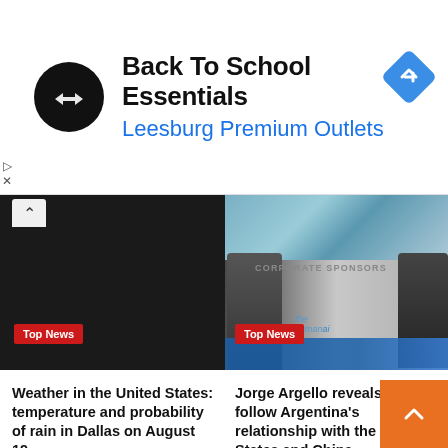[Figure (other): Advertisement banner: Back To School Essentials - Leesburg Premium Outlets with logo and navigation badge]
[Figure (photo): Dark background video thumbnail with chevron-up icon and Top News red badge on left; corporate event photo with 'CORPORATE SPONSORS' text and Top News badge on right]
Weather in the United States: temperature and probability of rain in Dallas on August 19
5 hours ago  Leland Griffith
Jorge Argello reveals how to follow Argentina's relationship with the United States and China
13 hours ago  Leland Griffith